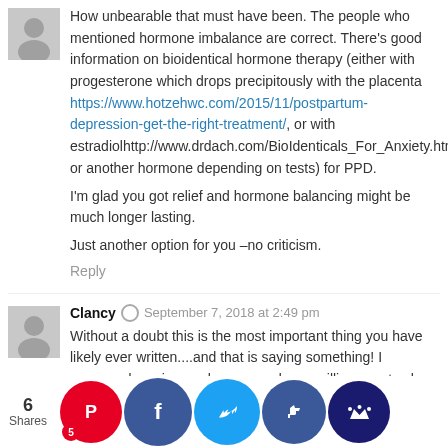How unbearable that must have been. The people who mentioned hormone imbalance are correct. There's good information on bioidentical hormone therapy (either with progesterone which drops precipitously with the placenta https://www.hotzehwc.com/2015/11/postpartum-depression-get-the-right-treatment/, or with estradiolhttp://www.drdach.com/BioIdenticals_For_Anxiety.html) or another hormone depending on tests) for PPD.

I'm glad you got relief and hormone balancing might be much longer lasting.

Just another option for you –no criticism.
Reply
Clancy  ©  September 7, 2018 at 2:49 pm
Without a doubt this is the most important thing you have likely ever written....and that is saying something! I commend you in your bravery and your willingness to share what has had to have been a very difficult time in your life. As a long time reader of...
6 Shares